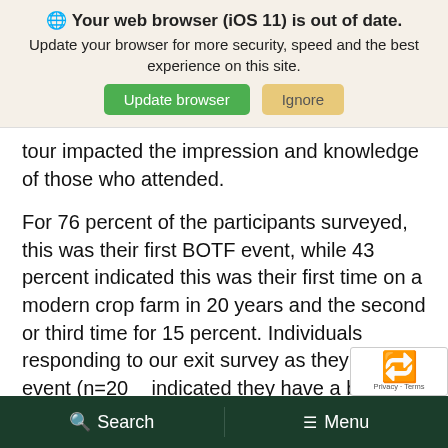[Figure (screenshot): Browser update notification banner with globe icon, bold heading 'Your web browser (iOS 11) is out of date.', subtext, and two buttons: 'Update browser' (green) and 'Ignore' (yellow)]
tour impacted the impression and knowledge of those who attended.
For 76 percent of the participants surveyed, this was their first BOTF event, while 43 percent indicated this was their first time on a modern crop farm in 20 years and the second or third time for 15 percent. Individuals responding to our exit survey as they left the event (n=20 indicated they have a better understanding crop production, are more knowledgeable
Search   Menu